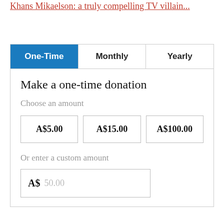Khans Mikaelson: a truly compelling TV villain...
[Figure (screenshot): Donation widget with tabs: One-Time (active), Monthly, Yearly. Shows 'Make a one-time donation', 'Choose an amount' with buttons A$5.00, A$15.00, A$100.00. Then 'Or enter a custom amount' with input showing A$ 50.00 placeholder.]